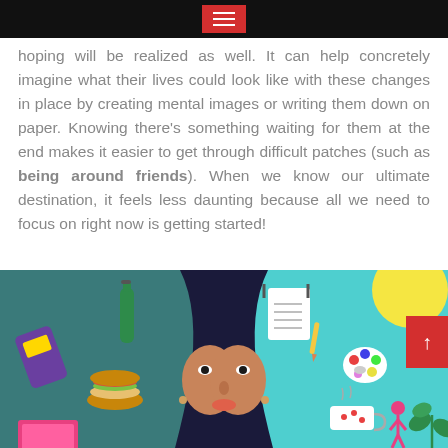hoping will be realized as well. It can help concretely imagine what their lives could look like with these changes in place by creating mental images or writing them down on paper. Knowing there's something waiting for them at the end makes it easier to get through difficult patches (such as being around friends). When we know our ultimate destination, it feels less daunting because all we need to focus on right now is getting started!
[Figure (illustration): Split illustration of a woman's face showing two halves: left side with dark teal background showing unhealthy lifestyle items (phone, bottle, burger, laptop), right side with bright teal/cyan background showing healthy lifestyle items (notepad with goals, paint palette, coffee cup, small person exercising, plant). A vertical white line divides the two halves.]